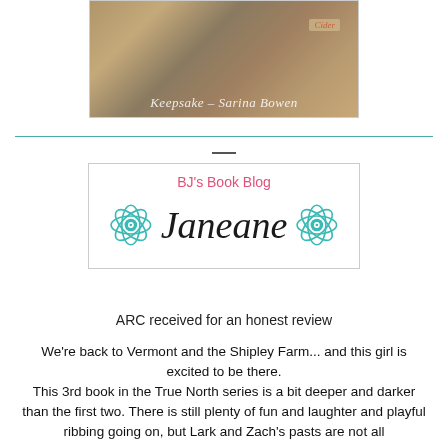[Figure (photo): Book cover image for 'Keepsake' by Sarina Bowen with a 'Cider' label visible]
[Figure (illustration): BJ's Book Blog signature logo with the name 'Janeane' in cursive script flanked by teal floral decorations]
ARC received for an honest review
We're back to Vermont and the Shipley Farm... and this girl is excited to be there.
This 3rd book in the True North series is a bit deeper and darker than the first two.  There is still plenty of fun and laughter and playful ribbing going on, but Lark and Zach's pasts are not all